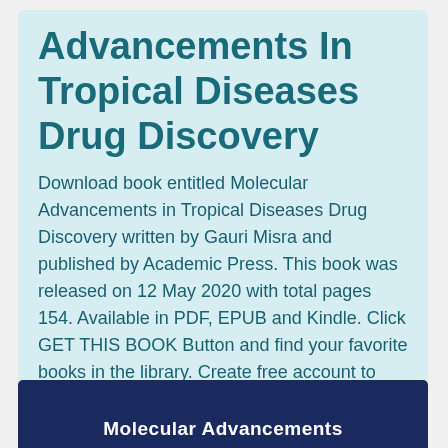Advancements In Tropical Diseases Drug Discovery
Download book entitled Molecular Advancements in Tropical Diseases Drug Discovery written by Gauri Misra and published by Academic Press. This book was released on 12 May 2020 with total pages 154. Available in PDF, EPUB and Kindle. Click GET THIS BOOK Button and find your favorite books in the library. Create free account to access unlimited books, fast download and ads free!
[Figure (illustration): Bottom portion of a dark navy blue book cover with white bold text reading 'Molecular Advancements' partially visible at the bottom of the page.]